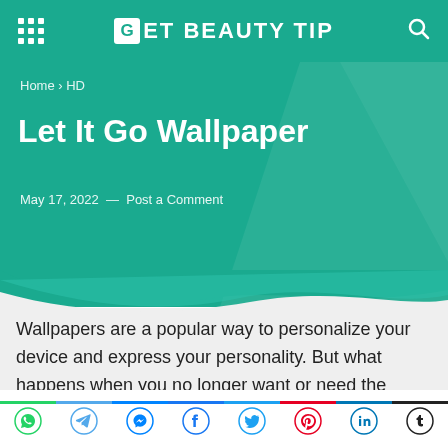GET BEAUTY TIP
Home › HD
Let It Go Wallpaper
May 17, 2022  —  Post a Comment
Wallpapers are a popular way to personalize your device and express your personality. But what happens when you no longer want or need the wallpaper? There are a multitude of different ways to remove or change wallpapers, but some methods are easier than others. In
[Figure (other): Social media share icons row: WhatsApp, Telegram, Messenger, Facebook, Twitter, Pinterest, LinkedIn, Tumblr]